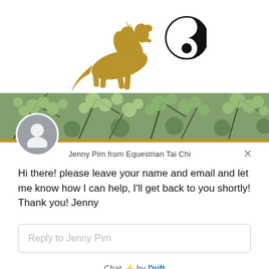[Figure (logo): Equestrian Tai Chi logo: golden horse/rider silhouette and black yin-yang symbol]
[Figure (photo): Horizontal banner photo of green foliage/bushes]
Jenny Pim from Equestrian Tai Chi
Hi there! please leave your name and email and let me know how I can help, I'll get back to you shortly!
Thank you! Jenny
Reply to Jenny Pim
Chat ⚡ by Drift